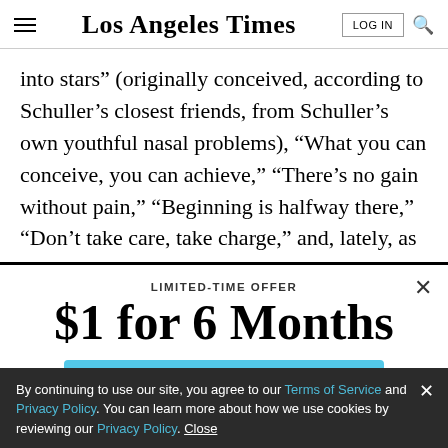Los Angeles Times
into stars” (originally conceived, according to Schuller’s closest friends, from Schuller’s own youthful nasal problems), “What you can conceive, you can achieve,” “There’s no gain without pain,” “Beginning is halfway there,” “Don’t take care, take charge,” and, lately, as
LIMITED-TIME OFFER
$1 for 6 Months
SUBSCRIBE NOW
By continuing to use our site, you agree to our Terms of Service and Privacy Policy. You can learn more about how we use cookies by reviewing our Privacy Policy. Close